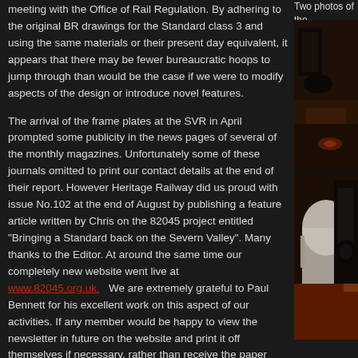meeting with the Office of Rail Regulation. By adhering to the original BR drawings for the Standard class 3 and using the same materials or their present day equivalent, it appears that there may be fewer bureaucratic hoops to jump through than would be the case if we were to modify aspects of the design or introduce novel features.
The arrival of the frame plates at the SVR in April prompted some publicity in the news pages of several of the monthly magazines. Unfortunately some of these journals omitted to print our contact details at the end of their report. However Heritage Railway did us proud with issue No.102 at the end of August by publishing a feature article written by Chris on the 82045 project entitled "Bringing a Standard back on the Severn Valley". Many thanks to the Editor. At around the same time our completely new website went live at www.82045.org.uk.   We are extremely grateful to Paul Bennett for his excellent work on this aspect of our activities. If any member would be happy to view the newsletter in future on the website and print it off themselves if necessary, rather than receive the paper
Two photos of the
[Figure (photo): Two photos of a steam locomotive under construction or restoration, shown in dark workshop setting with machinery and components visible.]